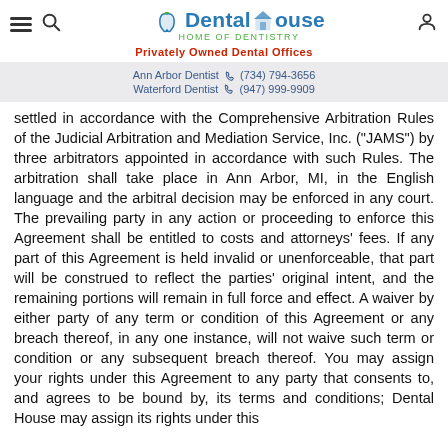Dental House — Home of Dentistry | Privately Owned Dental Offices | Ann Arbor Dentist (734) 794-3656 | Waterford Dentist (947) 999-9909
settled in accordance with the Comprehensive Arbitration Rules of the Judicial Arbitration and Mediation Service, Inc. ("JAMS") by three arbitrators appointed in accordance with such Rules. The arbitration shall take place in Ann Arbor, MI, in the English language and the arbitral decision may be enforced in any court. The prevailing party in any action or proceeding to enforce this Agreement shall be entitled to costs and attorneys' fees. If any part of this Agreement is held invalid or unenforceable, that part will be construed to reflect the parties' original intent, and the remaining portions will remain in full force and effect. A waiver by either party of any term or condition of this Agreement or any breach thereof, in any one instance, will not waive such term or condition or any subsequent breach thereof. You may assign your rights under this Agreement to any party that consents to, and agrees to be bound by, its terms and conditions; Dental House may assign its rights under this